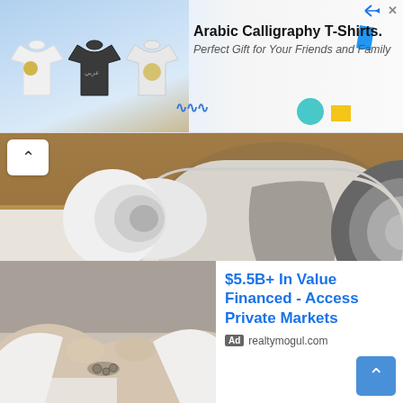[Figure (screenshot): Advertisement banner for Arabic Calligraphy T-Shirts showing three t-shirts and text 'Arabic Calligraphy T-Shirts. Perfect Gift for Your Friends and Family']
[Figure (photo): Photo of rolled up architectural blueprint/plan drawings on a wooden surface]
Instant Home Value - VA, MD, DC House Value Tool
Ad kerishull.com
[Figure (photo): Photo of two people shaking hands with keys being handed over, representing a real estate transaction]
$5.5B+ In Value Financed - Access Private Markets
Ad realtymogul.com